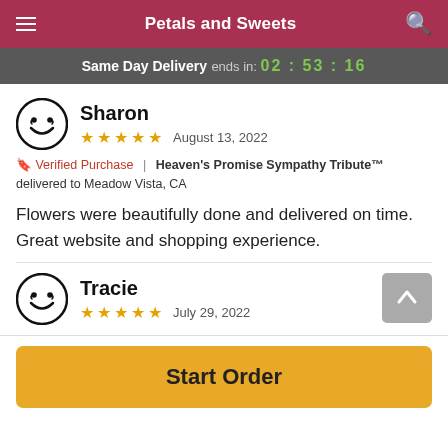Petals and Sweets
Same Day Delivery ends in: 02 : 53 : 16
Sharon
★★★★★  August 13, 2022
🔖 Verified Purchase | Heaven's Promise Sympathy Tribute™ delivered to Meadow Vista, CA
Flowers were beautifully done and delivered on time. Great website and shopping experience.
Tracie
★★★★★  July 29, 2022
Start Order